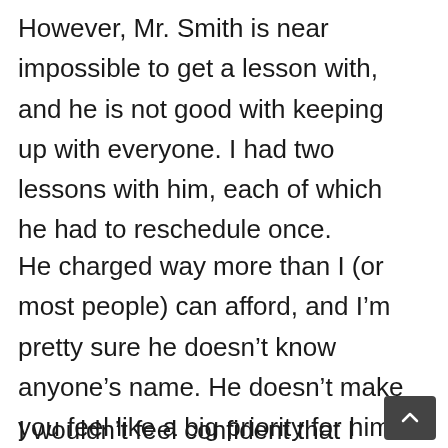However, Mr. Smith is near impossible to get a lesson with, and he is not good with keeping up with everyone. I had two lessons with him, each of which he had to reschedule once.
He charged way more than I (or most people) can afford, and I'm pretty sure he doesn't know anyone's name. He doesn't make you feel like a big priority for him. For the amount that he is charging, he should!
I wouldn't feel confident that I could